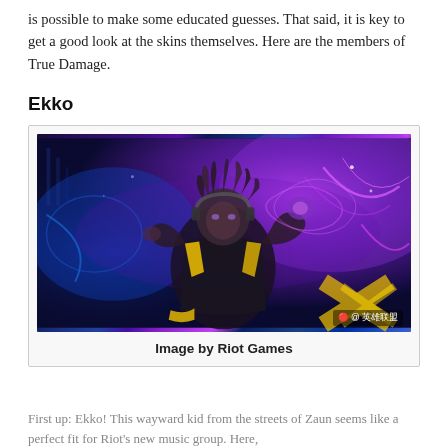is possible to make some educated guesses. That said, it is key to get a good look at the skins themselves. Here are the members of True Damage.
Ekko
[Figure (photo): Splash art of the Ekko True Damage skin from League of Legends, showing the character in vibrant purple and blue neon lighting with yellow accent colors, wearing streetwear. Watermark: @ 英雄联盟]
Image by Riot Games
First up: Ekko! This wayward kid from the streets of Zaun seems like a perfect fit for Riot's new music group. Here,